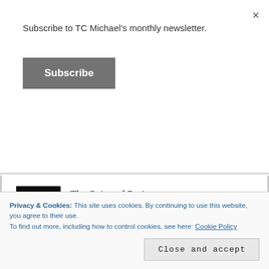Subscribe to TC Michael's monthly newsletter.
Subscribe
The Ozimord Project
by Vera Mont
This was a good read and a thrilling story of adventure, political intrigue, character relationships and space travel. One of the most interesting things I found about this book was the seamless combination of space science fiction and a...
Privacy & Cookies: This site uses cookies. By continuing to use this website, you agree to their use.
To find out more, including how to control cookies, see here: Cookie Policy
Close and accept